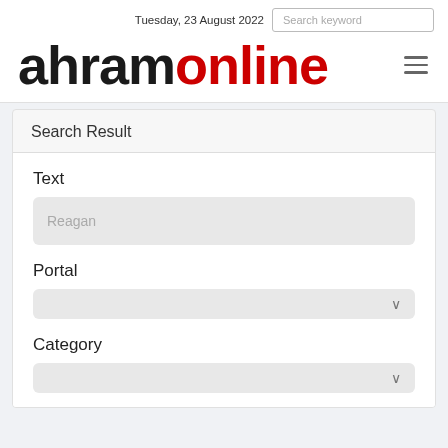Tuesday, 23 August 2022
[Figure (logo): Ahram Online logo with 'ahram' in black and 'online' in red]
Search Result
Text
Reagan
Portal
Category